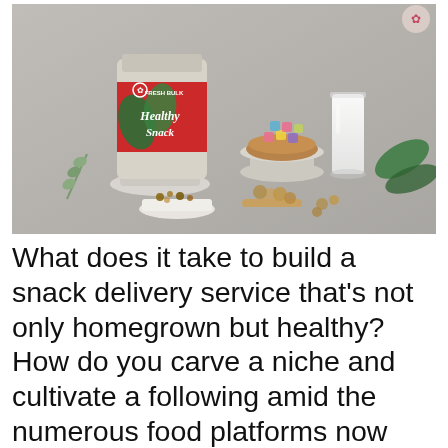[Figure (photo): Product photo of Fresh Bulk Healthy Snack packaging (red and green bag) alongside a wooden bowl of colorful marshmallows, a tall glass of milk, nuts, granola in a white dish, and green tropical leaves on a marble/concrete surface.]
What does it take to build a snack delivery service that's not only homegrown but healthy? How do you carve a niche and cultivate a following amid the numerous food platforms now available online?